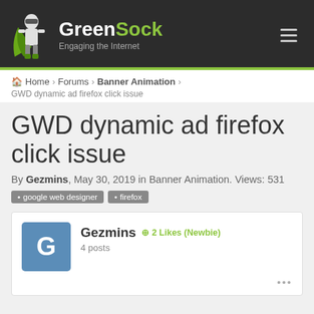GreenSock — Engaging the Internet
Home > Forums > Banner Animation > GWD dynamic ad firefox click issue
GWD dynamic ad firefox click issue
By Gezmins, May 30, 2019 in Banner Animation. Views: 531
google web designer
firefox
Gezmins  2 Likes (Newbie)
4 posts